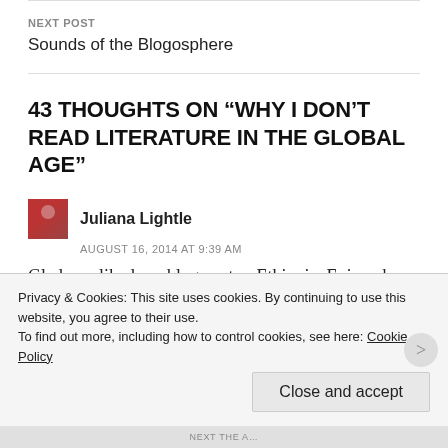NEXT POST
Sounds of the Blogosphere
43 THOUGHTS ON “WHY I DON’T READ LITERATURE IN THE GLOBAL AGE”
Juliana Lightle
AUGUST 16, 2014 AT 9:39 AM
Glad you liked my blog post re Ethiopia. Enjoyed reading this because I am switching from teaching math for years to English IV in high school, and yes, they have to read
Privacy & Cookies: This site uses cookies. By continuing to use this website, you agree to their use.
To find out more, including how to control cookies, see here: Cookie Policy
Close and accept